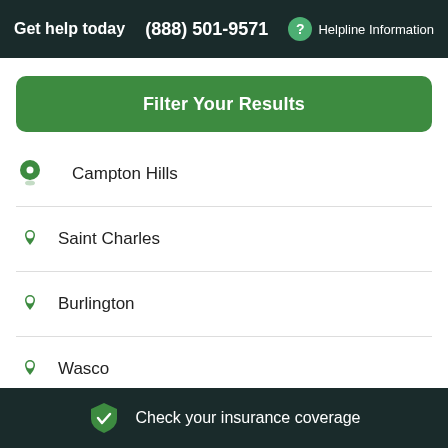Get help today (888) 501-9571 ? Helpline Information
Filter Your Results
Campton Hills
Saint Charles
Burlington
Wasco
Dundee
Check your insurance coverage